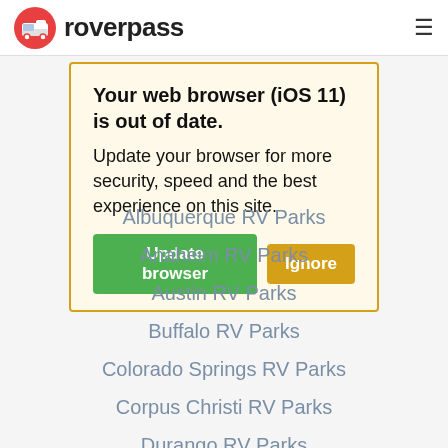roverpass
Your web browser (iOS 11) is out of date. Update your browser for more security, speed and the best experience on this site.
Albuquerque RV Parks
Anaheim RV Parks
Austin RV Parks
Buffalo RV Parks
Colorado Springs RV Parks
Corpus Christi RV Parks
Durango RV Parks
Flagstaff RV Parks
Fredericksburg RV Parks
Galveston RV Parks